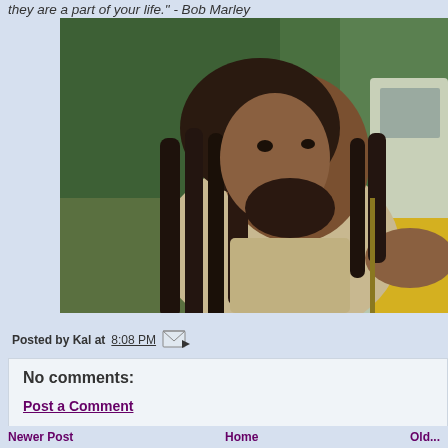they are a part of your life." - Bob Marley
[Figure (photo): Photograph of Bob Marley with dreadlocks, wearing a beige shirt, seated near a yellow vehicle with green trees in the background]
Posted by Kal at 8:08 PM
No comments:
Post a Comment
Newer Post    Home    Older P...